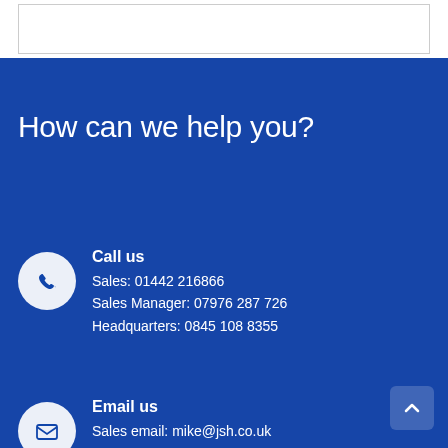How can we help you?
Call us
Sales: 01442 216866
Sales Manager: 07976 287 726
Headquarters: 0845 108 8355
Email us
Sales email: mike@jsh.co.uk